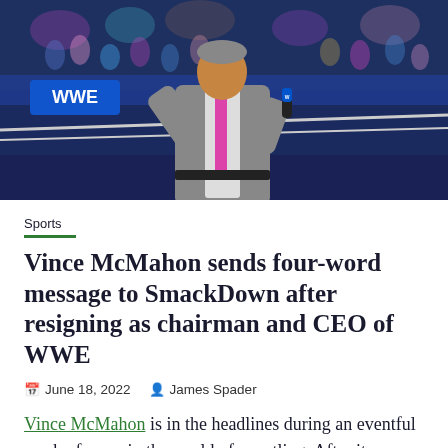[Figure (photo): Man in grey suit holding a WWE microphone at a SmackDown event, crowd in background, WWE branding visible on ring]
Sports
Vince McMahon sends four-word message to SmackDown after resigning as chairman and CEO of WWE
June 18, 2022   James Spader
Vince McMahon is in the headlines during an eventful week of news in the world of wrestling. After it was announced that he would retire as WWE Chairman and CEO, fans were greeted with another surprise when the company confirmed